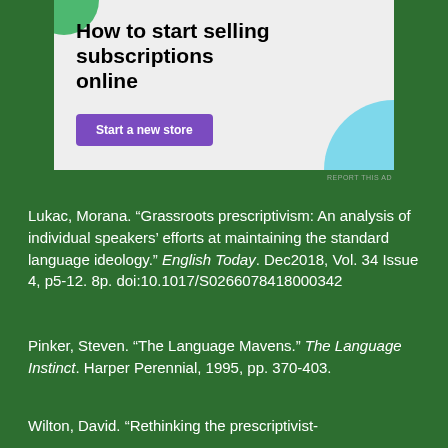[Figure (screenshot): Advertisement banner: 'How to start selling subscriptions online' with a purple 'Start a new store' button, green and blue decorative shapes on a light gray background]
REPORT THIS AD
Lukac, Morana. “Grassroots prescriptivism: An analysis of individual speakers’ efforts at maintaining the standard language ideology.” English Today. Dec2018, Vol. 34 Issue 4, p5-12. 8p. doi:10.1017/S0266078418000342
Pinker, Steven. “The Language Mavens.” The Language Instinct. Harper Perennial, 1995, pp. 370-403.
Wilton, David. “Rethinking the prescriptivist-